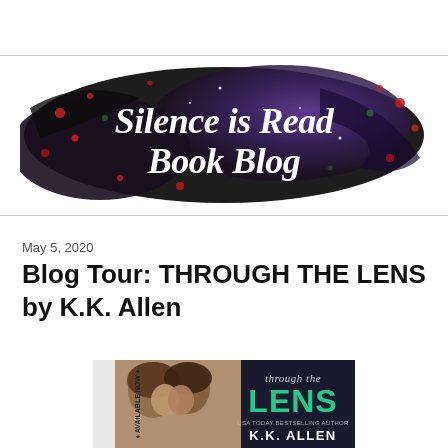[Figure (logo): Silence is Read Book Blog banner logo with dark/galaxy brushstroke background with red and green bokeh lights and white italic handwritten text]
May 5, 2020
Blog Tour: THROUGH THE LENS by K.K. Allen
[Figure (photo): Book cover of 'Through the Lens' by K.K. Allen showing two people about to kiss, with teal/green LENS text and 'Available Now' banner, USA Today Bestselling Author label]